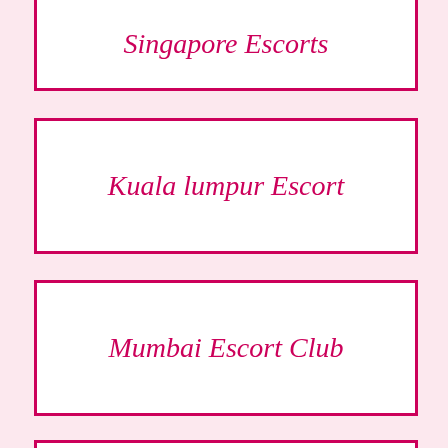Singapore Escorts
Kuala lumpur Escort
Mumbai Escort Club
Mumbai Call Girls
Goa Escorts